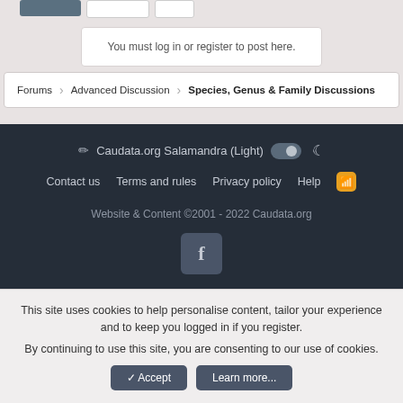You must log in or register to post here.
Forums  Advanced Discussion  Species, Genus & Family Discussions
Caudata.org Salamandra (Light)
Contact us  Terms and rules  Privacy policy  Help
Website & Content ©2001 - 2022 Caudata.org
[Figure (logo): Facebook button icon]
This site uses cookies to help personalise content, tailor your experience and to keep you logged in if you register. By continuing to use this site, you are consenting to our use of cookies.
Accept  Learn more...